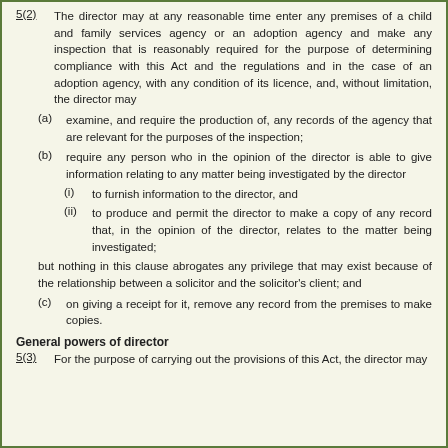5(2) The director may at any reasonable time enter any premises of a child and family services agency or an adoption agency and make any inspection that is reasonably required for the purpose of determining compliance with this Act and the regulations and in the case of an adoption agency, with any condition of its licence, and, without limitation, the director may
(a) examine, and require the production of, any records of the agency that are relevant for the purposes of the inspection;
(b) require any person who in the opinion of the director is able to give information relating to any matter being investigated by the director
(i) to furnish information to the director, and
(ii) to produce and permit the director to make a copy of any record that, in the opinion of the director, relates to the matter being investigated;
but nothing in this clause abrogates any privilege that may exist because of the relationship between a solicitor and the solicitor's client; and
(c) on giving a receipt for it, remove any record from the premises to make copies.
General powers of director
5(3) For the purpose of carrying out the provisions of this Act, the director may